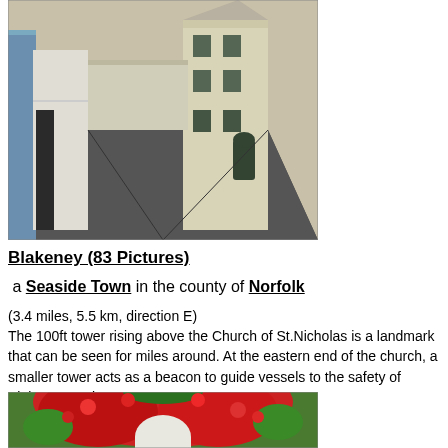[Figure (photo): Street scene in Blakeney showing a narrow road flanked by white and cream coloured buildings]
Blakeney (83 Pictures)
a Seaside Town in the county of Norfolk
(3.4 miles, 5.5 km, direction E)
The 100ft tower rising above the Church of St.Nicholas is a landmark that can be seen for miles around. At the eastern end of the church, a smaller tower acts as a beacon to guide vessels to the safety of Blakeney Harbour...
[Figure (photo): Arch or ruin covered in red flowering/leafy vegetation with green foliage]